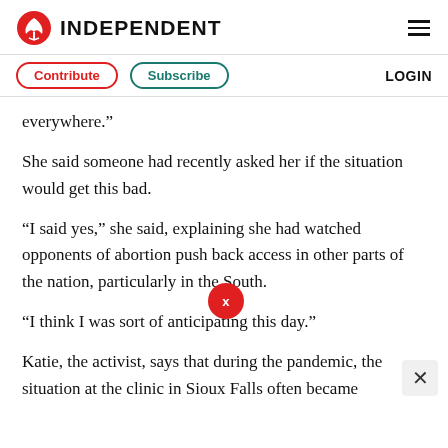INDEPENDENT
Contribute  Subscribe  LOGIN
everywhere.”
She said someone had recently asked her if the situation would get this bad.
“I said yes,” she said, explaining she had watched opponents of abortion push back access in other parts of the nation, particularly in the South.
“I think I was sort of anticipating this day.”
Katie, the activist, says that during the pandemic, the situation at the clinic in Sioux Falls often became